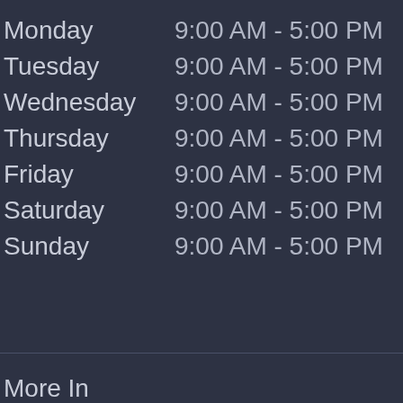Monday   9:00 AM - 5:00 PM
Tuesday   9:00 AM - 5:00 PM
Wednesday   9:00 AM - 5:00 PM
Thursday   9:00 AM - 5:00 PM
Friday   9:00 AM - 5:00 PM
Saturday   9:00 AM - 5:00 PM
Sunday   9:00 AM - 5:00 PM